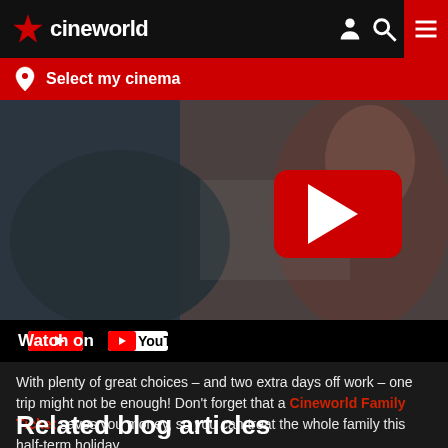cineworld
Select my cinema
[Figure (screenshot): YouTube video embed showing two people in a dark scene, with a YouTube play button overlay and 'Watch on YouTube' label at the bottom]
With plenty of great choices – and two extra days off work – one trip might not be enough! Don't forget that a Cineworld Family Ticket saves you money, so you can treat the whole family this half-term holiday.
Related blog articles